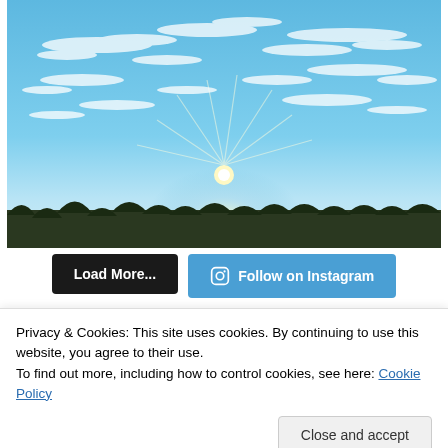[Figure (photo): Outdoor photo of a bright sun shining through a blue sky with wispy clouds, with a silhouette of trees along the bottom horizon.]
Load More...
Follow on Instagram
Privacy & Cookies: This site uses cookies. By continuing to use this website, you agree to their use.
To find out more, including how to control cookies, see here: Cookie Policy
Close and accept